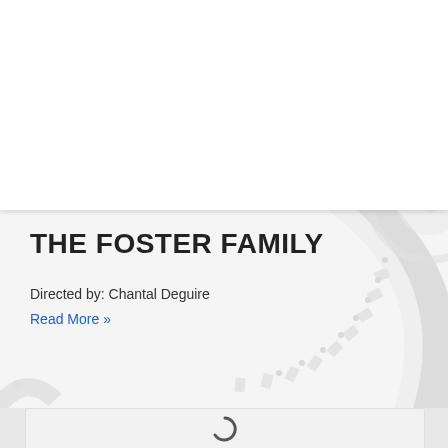THE FOSTER FAMILY
Directed by: Chantal Deguire
Read More »
[Figure (illustration): Film reel graphic watermark in light gray, partially visible in the background of the middle section]
[Figure (illustration): A card/panel with a loading spinner (partial circle arc) in the center, indicating content loading]